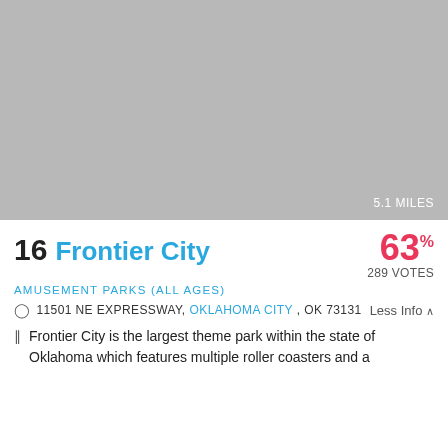[Figure (photo): Gray placeholder image of Frontier City amusement park with '5.1 MILES' label in bottom right corner]
16 Frontier City
63% 289 VOTES
AMUSEMENT PARKS (ALL AGES)
11501 NE EXPRESSWAY, OKLAHOMA CITY, OK 73131   Less Info ^
Frontier City is the largest theme park within the state of Oklahoma which features multiple roller coasters and a